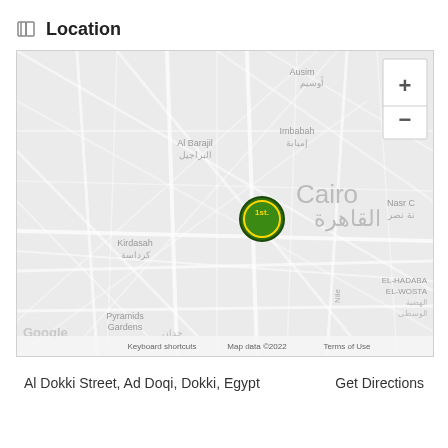Location
[Figure (map): Google Map centered on Cairo, Egypt showing a location marker (1st.) in the Dokki area. Map labels include: Ausim/أوسيم, شبرا الخيمة, Al Barajil/البراجيل, Imbabah/إمبابة, Cairo/القاهرة, Kirdasah/كرداسة, Nasr C/نة نصر, EL-HADABA EL-WOSTA/الهضبة الوسطى, Pyramids Gardens/حدان, Nile. Zoom controls (+/-) visible top right. Google logo and attribution bottom: Keyboard shortcuts, Map data ©2022, Terms of Use.]
Al Dokki Street, Ad Doqi, Dokki, Egypt
Get Directions